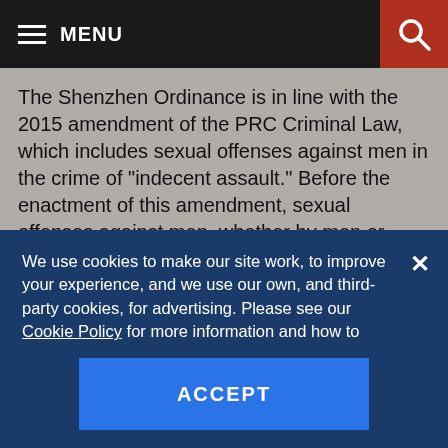MENU
The Shenzhen Ordinance is in line with the 2015 amendment of the PRC Criminal Law, which includes sexual offenses against men in the crime of "indecent assault." Before the enactment of this amendment, sexual offenses against men, whether by men or women, were rarely punished under the Criminal Law, unless the offense caused physical injury to the victim. The increased number of reported cases of
We use cookies to make our site work, to improve your experience, and we use our own, and third-party cookies, for advertising. Please see our Cookie Policy for more information and how to disable them. By clicking accept, or closing the message and continuing to use this site, you agree to our use of cookies.
ACCEPT